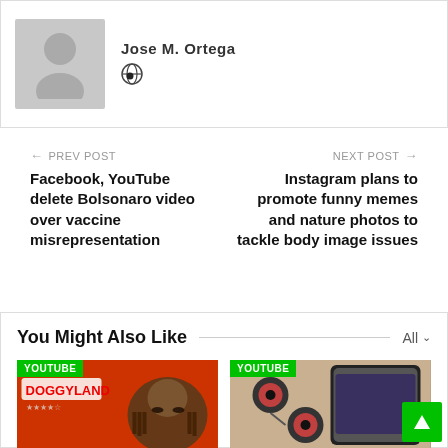[Figure (illustration): Author card with grey silhouette avatar and globe icon]
← PREV POST
Facebook, YouTube delete Bolsonaro video over vaccine misrepresentation
NEXT POST →
Instagram plans to promote funny memes and nature photos to tackle body image issues
You Might Also Like
[Figure (photo): YouTube thumbnail showing Snoop Dogg with DOGGYLAND text, wearing sunglasses]
[Figure (photo): YouTube thumbnail showing earbuds and a phone on a wooden surface]